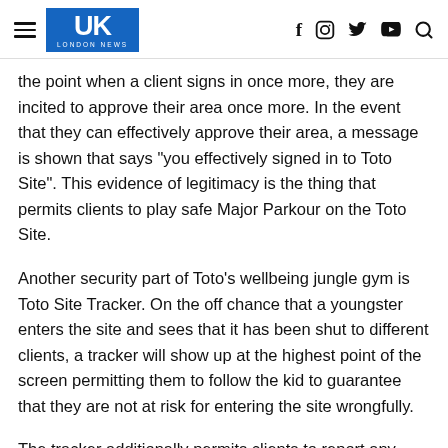UK London News
the point when a client signs in once more, they are incited to approve their area once more. In the event that they can effectively approve their area, a message is shown that says “you effectively signed in to Toto Site”. This evidence of legitimacy is the thing that permits clients to play safe Major Parkour on the Toto Site.
Another security part of Toto’s wellbeing jungle gym is Toto Site Tracker. On the off chance that a youngster enters the site and sees that it has been shut to different clients, a tracker will show up at the highest point of the screen permitting them to follow the kid to guarantee that they are not at risk for entering the site wrongfully.
The tracker additionally permits clients to report any security issues on the site to Toto through their email address. Toto has been associated with a few claims over bogus cases made by its workers for hire, including bogus cases that the